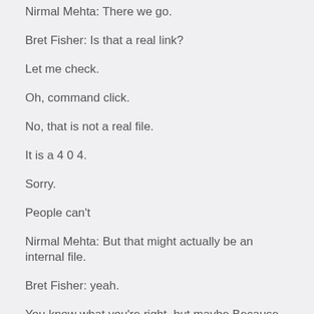Nirmal Mehta: There we go.
Bret Fisher: Is that a real link?
Let me check.
Oh, command click.
No, that is not a real file.
It is a 4 0 4.
Sorry.
People can't
Nirmal Mehta: But that might actually be an internal file.
Bret Fisher: yeah.
You know what you're right, but maybe Because cause that they do give.